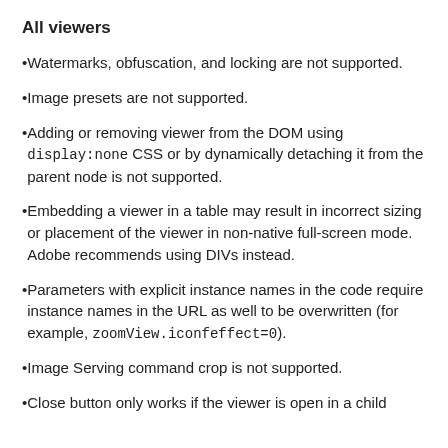All viewers
Watermarks, obfuscation, and locking are not supported.
Image presets are not supported.
Adding or removing viewer from the DOM using display:none CSS or by dynamically detaching it from the parent node is not supported.
Embedding a viewer in a table may result in incorrect sizing or placement of the viewer in non-native full-screen mode. Adobe recommends using DIVs instead.
Parameters with explicit instance names in the code require instance names in the URL as well to be overwritten (for example, zoomView.iconfeffect=0).
Image Serving command crop is not supported.
Close button only works if the viewer is open in a child